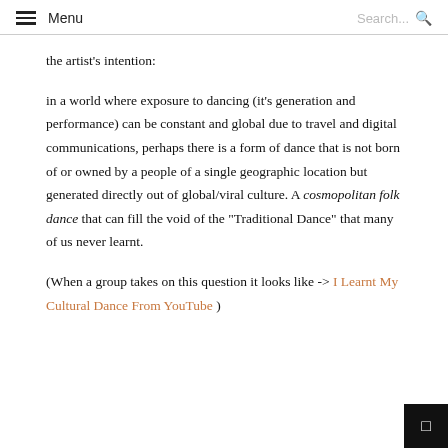Menu   Search...
the artist's intention:
in a world where exposure to dancing (it's generation and performance) can be constant and global due to travel and digital communications, perhaps there is a form of dance that is not born of or owned by a people of a single geographic location but generated directly out of global/viral culture. A cosmopolitan folk dance that can fill the void of the "Traditional Dance" that many of us never learnt.
(When a group takes on this question it looks like -> I Learnt My Cultural Dance From YouTube )